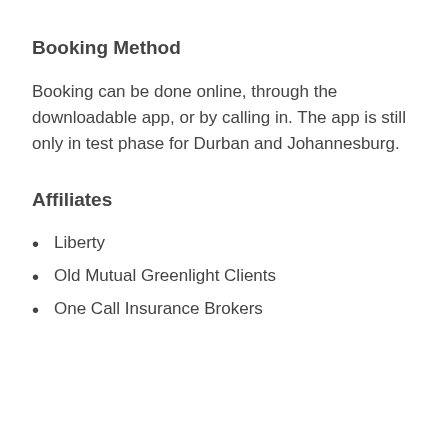Booking Method
Booking can be done online, through the downloadable app, or by calling in. The app is still only in test phase for Durban and Johannesburg.
Affiliates
Liberty
Old Mutual Greenlight Clients
One Call Insurance Brokers